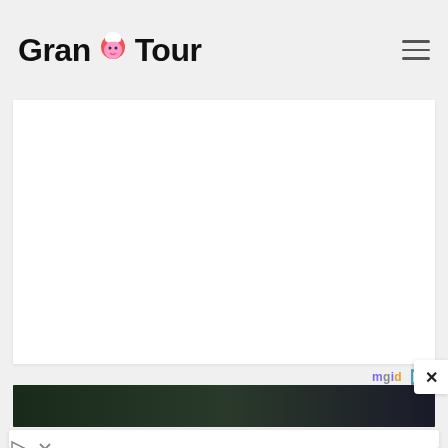Grand Tour
[Figure (screenshot): White content card area, blank/empty main content placeholder]
[Figure (logo): mgid logo with play button icon and horizontal rule separator]
[Figure (photo): Dark image strip at bottom of content card]
[Figure (screenshot): Close button (X) on right side]
[Figure (infographic): Advertisement banner: Leesburg OPEN 10AM-9PM, 241 Fort Evans Rd NE, Leesbur... with circular logo and blue navigation arrow icon, plus play and close icons at bottom]